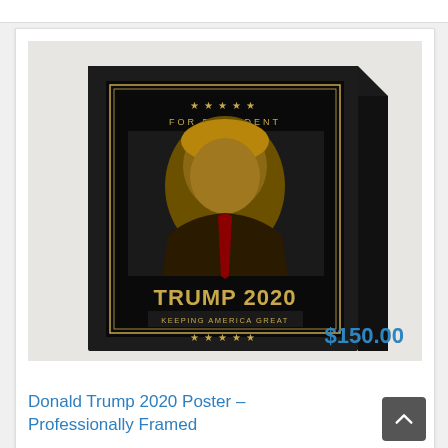[Figure (photo): A framed Donald Trump 2020 campaign poster in a black frame, shown at an angle. The poster has a dark background with gold accents, showing Trump's portrait and text reading 'FOR PRESIDENT', 'TRUMP 2020', 'KEEPING AMERICA GREAT' with gold stars at top and bottom.]
$150.00
Donald Trump 2020 Poster – Professionally Framed